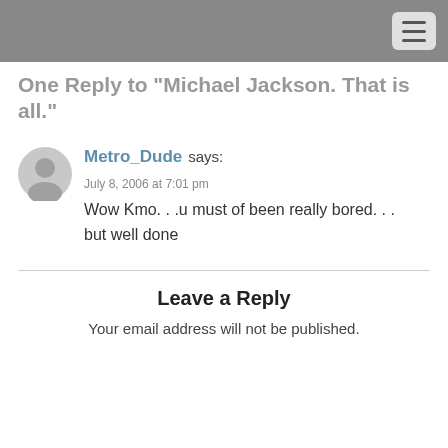One Reply to “Michael Jackson. That is all.”
Metro_Dude says:
July 8, 2006 at 7:01 pm
Wow Kmo…u must of been really bored… but well done
Leave a Reply
Your email address will not be published.